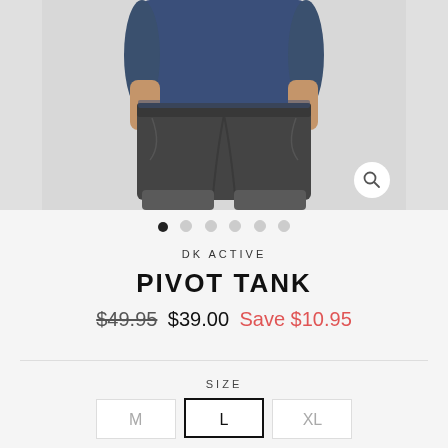[Figure (photo): Man wearing dark charcoal athletic shorts and a navy blue t-shirt, hands on hips, torso and lower body visible. Product photo on light grey background. Magnify/zoom icon in bottom right corner.]
DK ACTIVE
PIVOT TANK
$49.95  $39.00  Save $10.95
SIZE
M  L  XL